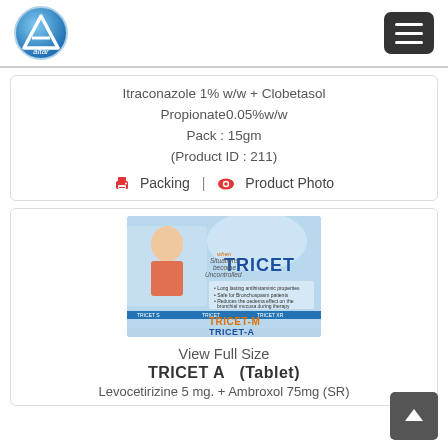altar logo | menu
Itraconazole 1% w/w + Clobetasol Propionate0.05%w/w
Pack : 15gm
(Product ID : 211)
Packing | Product Photo
[Figure (photo): Product promotional image showing TRICET, TRICET-M, and TRICET-A pharmaceutical tablets with branding and bullet points]
View Full Size
TRICET A  (Tablet)
Levocetirizine 5 mg. + Ambroxol 75mg (SR)